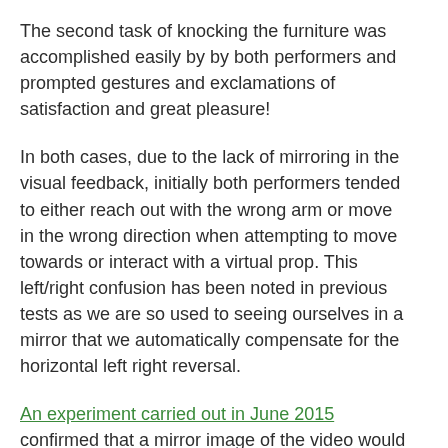The second task of knocking the furniture was accomplished easily by by both performers and prompted gestures and exclamations of satisfaction and great pleasure!
In both cases, due to the lack of mirroring in the visual feedback, initially both performers tended to either reach out with the wrong arm or move in the wrong direction when attempting to move towards or interact with a virtual prop. This left/right confusion has been noted in previous tests as we are so used to seeing ourselves in a mirror that we automatically compensate for the horizontal left right reversal.
An experiment carried out in June 2015 confirmed that a mirror image of the video would produce the familiar inversion we are used to seeing in a mirror and performers did not experience the left/right confusion. It was observed that the mirroring problem appeared to become more acute when given a task to perform, involving reaching out or moving